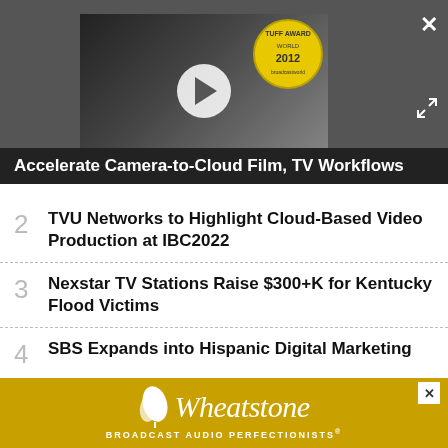[Figure (screenshot): Video player showing a media workflow video with play button and audio award badge overlay. Sound bar shows 'PLAY SOUND' text.]
Accelerate Camera-to-Cloud Film, TV Workflows
2  TVU Networks to Highlight Cloud-Based Video Production at IBC2022
3  Nexstar TV Stations Raise $300+K for Kentucky Flood Victims
4  SBS Expands into Hispanic Digital Marketing
5  Firstlight Media, Google Cloud Announce
[Figure (logo): Wheatstone Broadcast Audio Perfectionists advertisement banner]